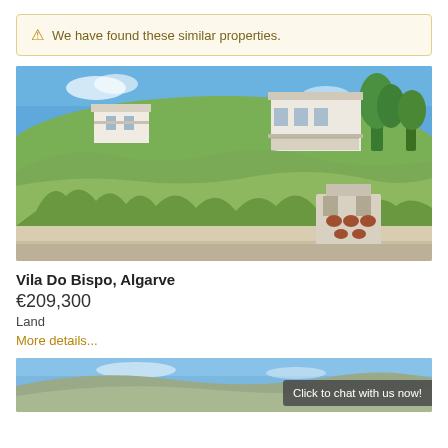⚠ We have found these similar properties.
[Figure (photo): Outdoor photo of a hillside plot of land in Vila Do Bispo, Algarve, with white villas visible in the background against a blue sky, scrubby vegetation on the slope, a road in the foreground, and a white stone structure/entrance gate on the right.]
Vila Do Bispo, Algarve
€209,300
Land
More details...
[Figure (photo): Partial photo of another property listing showing a landscape with hills and blue sky.]
Click to chat with us now!